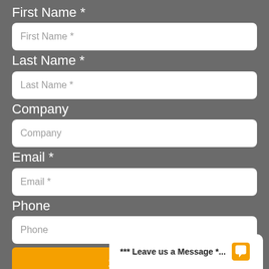First Name *
First Name *
Last Name *
Last Name *
Company
Company
Email *
Email *
Phone
Phone
Submit
*** Leave us a Message *...